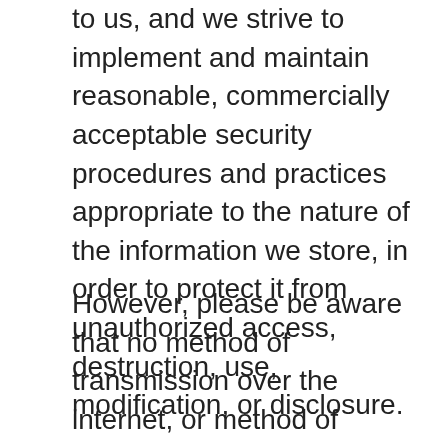to us, and we strive to implement and maintain reasonable, commercially acceptable security procedures and practices appropriate to the nature of the information we store, in order to protect it from unauthorized access, destruction, use, modification, or disclosure.
However, please be aware that no method of transmission over the internet, or method of electronic storage is 100% secure and we are unable to guarantee the absolute security of the Personal Information we have collected from you.
Links To Other Sites
Our Service may contain links to other sites that are not operated by us. If you click on a third party link, you will be directed to that third party's site. We strongly advise you to review the Privacy Policy of